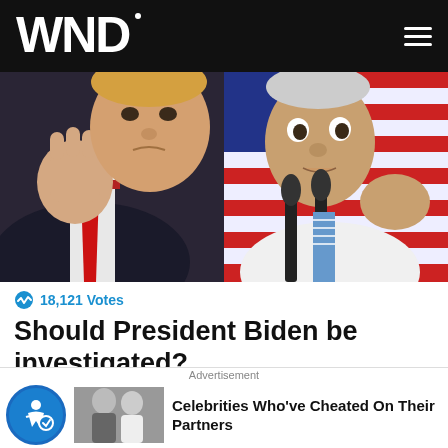WND
[Figure (photo): Split image: left half shows Donald Trump in dark suit with red tie raising a fist; right half shows Joe Biden in white shirt with blue striped tie speaking at microphones in front of American flag backdrop]
18,121 Votes
Should President Biden be investigated?
Yes
Advertisement
Celebrities Who've Cheated On Their Partners